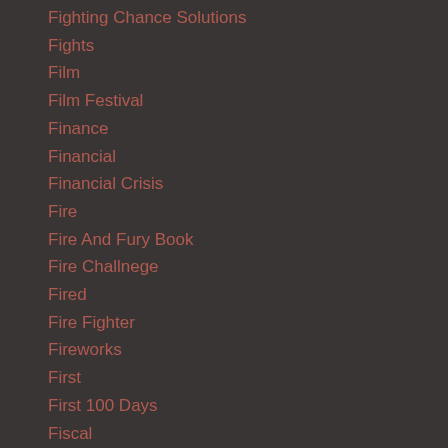Fighting Chance Solutions
Fights
Film
Film Festival
Finance
Financial
Financial Crisis
Fire
Fire And Fury Book
Fire Challnege
Fired
Fire Fighter
Fireworks
First
First 100 Days
Fiscal
Fish
Fish And Dc
Five Percenter
Flat Earth